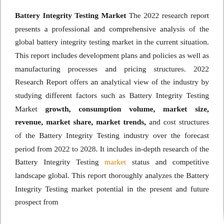Battery Integrity Testing Market The 2022 research report presents a professional and comprehensive analysis of the global battery integrity testing market in the current situation. This report includes development plans and policies as well as manufacturing processes and pricing structures. 2022 Research Report offers an analytical view of the industry by studying different factors such as Battery Integrity Testing Market growth, consumption volume, market size, revenue, market share, market trends, and cost structures of the Battery Integrity Testing industry over the forecast period from 2022 to 2028. It includes in-depth research of the Battery Integrity Testing market status and competitive landscape global. This report thoroughly analyzes the Battery Integrity Testing market potential in the present and future prospect from